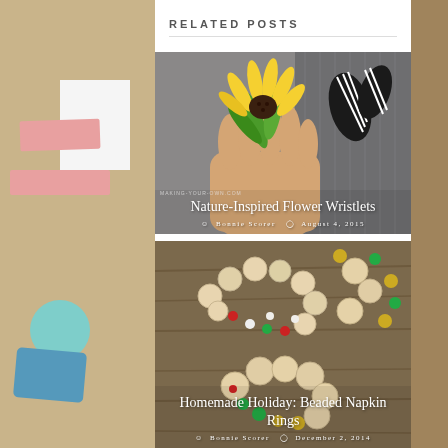RELATED POSTS
[Figure (photo): A child's hand holding yellow sunflower wristlets/corsages against a gray fabric background]
Nature-Inspired Flower Wristlets
Bonnie Scorer  August 4, 2015
[Figure (photo): Beaded napkin rings made of wooden beads and colorful small beads on a wooden surface]
Homemade Holiday: Beaded Napkin Rings
Bonnie Scorer  December 2, 2014